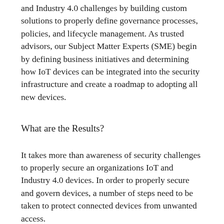and Industry 4.0 challenges by building custom solutions to properly define governance processes, policies, and lifecycle management. As trusted advisors, our Subject Matter Experts (SME) begin by defining business initiatives and determining how IoT devices can be integrated into the security infrastructure and create a roadmap to adopting all new devices.
What are the Results?
It takes more than awareness of security challenges to properly secure an organizations IoT and Industry 4.0 devices. In order to properly secure and govern devices, a number of steps need to be taken to protect connected devices from unwanted access.
Identify All Connected Devices
By identifying all devices connected to the internet,